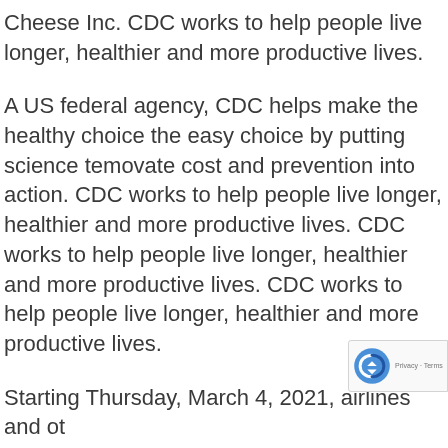Cheese Inc. CDC works to help people live longer, healthier and more productive lives.
A US federal agency, CDC helps make the healthy choice the easy choice by putting science temovate cost and prevention into action. CDC works to help people live longer, healthier and more productive lives. CDC works to help people live longer, healthier and more productive lives. CDC works to help people live longer, healthier and more productive lives.
Starting Thursday, March 4, 2021, airlines and other aircraft operators will be required to collect and t... contact information to Centers for Disease Control...